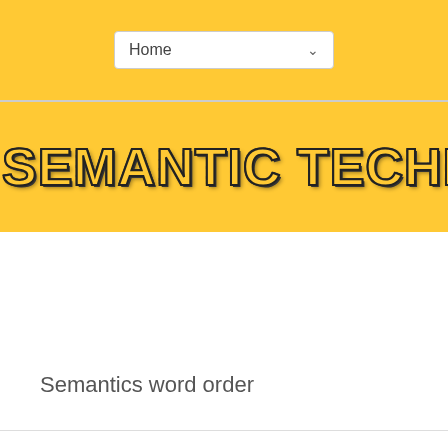Home
SEMANTIC TECHNOLOGIES
Semantics word order